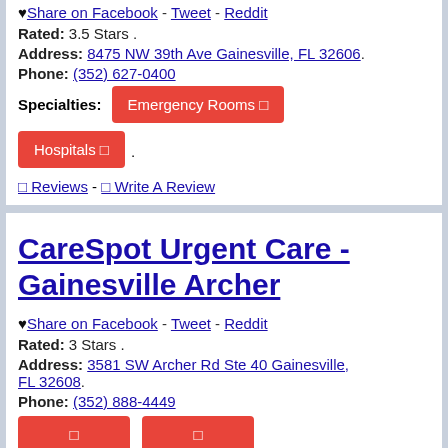♥ Share on Facebook - Tweet - Reddit
Rated: 3.5 Stars .
Address: 8475 NW 39th Ave Gainesville, FL 32606.
Phone: (352) 627-0400
Specialties: Emergency Rooms  Hospitals
0 Reviews - 0 Write A Review
CareSpot Urgent Care - Gainesville Archer
♥ Share on Facebook - Tweet - Reddit
Rated: 3 Stars .
Address: 3581 SW Archer Rd Ste 40 Gainesville, FL 32608.
Phone: (352) 888-4449